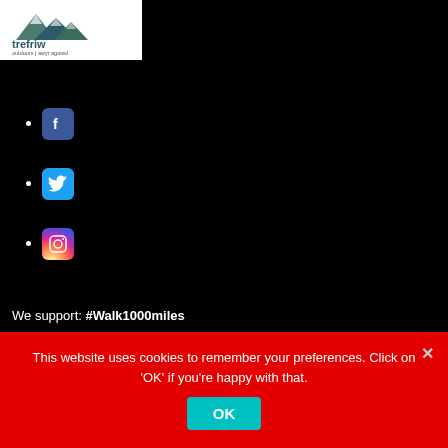[Figure (logo): Trefriw Outdoors logo with mountain silhouette and text 'trefriw outdoors | awyr agored' on white background]
Facebook icon
Twitter icon
Instagram icon
We support: #Walk1000miles
Walking is good for you! Here's why.
This website uses cookies to remember your preferences. Click on 'OK' if you're happy with that.
OK